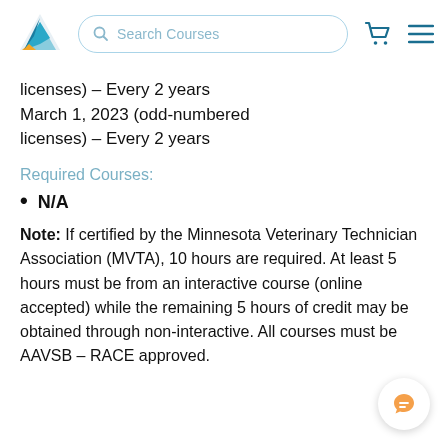Search Courses
licenses) – Every 2 years March 1, 2023 (odd-numbered licenses) – Every 2 years
Required Courses:
N/A
Note: If certified by the Minnesota Veterinary Technician Association (MVTA), 10 hours are required. At least 5 hours must be from an interactive course (online accepted) while the remaining 5 hours of credit may be obtained through non-interactive. All courses must be AAVSB – RACE approved.